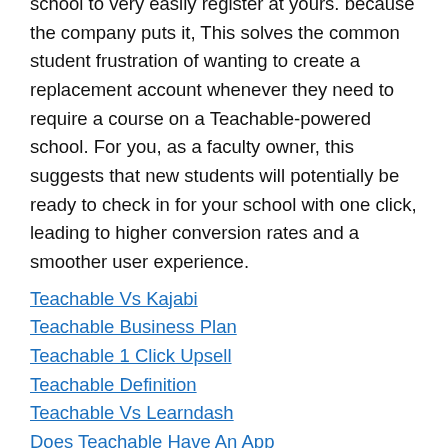school to very easily register at yours. because the company puts it, This solves the common student frustration of wanting to create a replacement account whenever they need to require a course on a Teachable-powered school. For you, as a faculty owner, this suggests that new students will potentially be ready to check in for your school with one click, leading to higher conversion rates and a smoother user experience.
Teachable Vs Kajabi
Teachable Business Plan
Teachable 1 Click Upsell
Teachable Definition
Teachable Vs Learndash
Does Teachable Have An App